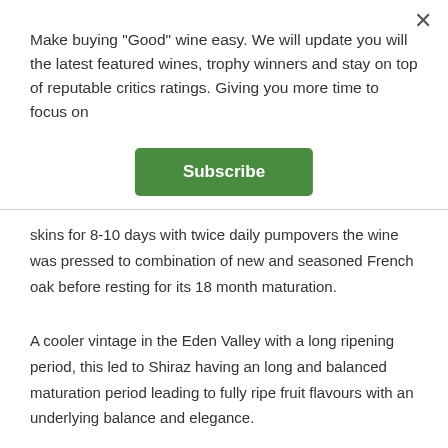Make buying "Good" wine easy. We will update you will the latest featured wines, trophy winners and stay on top of reputable critics ratings. Giving you more time to focus on
[Figure (other): Green Subscribe button]
skins for 8-10 days with twice daily pumpovers the wine was pressed to combination of new and seasoned French oak before resting for its 18 month maturation.
A cooler vintage in the Eden Valley with a long ripening period, this led to Shiraz having an long and balanced maturation period leading to fully ripe fruit flavours with an underlying balance and elegance.
“From the estate’s highest vineyard block situated on the